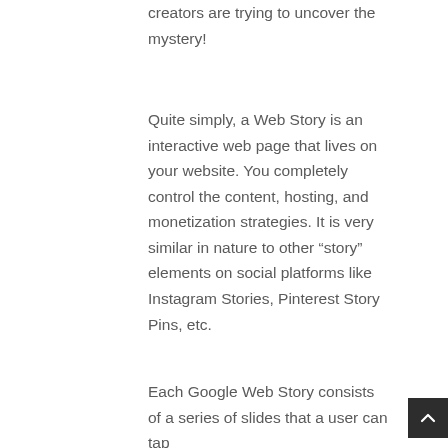creators are trying to uncover the mystery!
Quite simply, a Web Story is an interactive web page that lives on your website. You completely control the content, hosting, and monetization strategies. It is very similar in nature to other “story” elements on social platforms like Instagram Stories, Pinterest Story Pins, etc.
Each Google Web Story consists of a series of slides that a user can tap
[Figure (other): Dark scroll-to-top button in the bottom right corner with an upward chevron arrow icon]